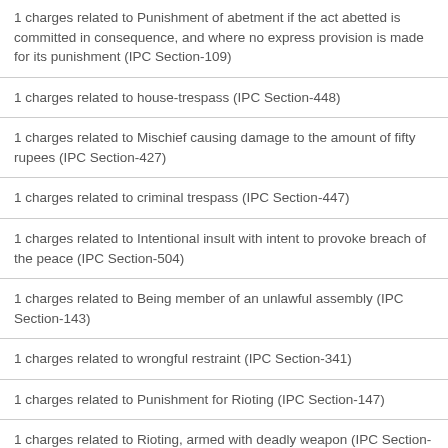1 charges related to Punishment of abetment if the act abetted is committed in consequence, and where no express provision is made for its punishment (IPC Section-109)
1 charges related to house-trespass (IPC Section-448)
1 charges related to Mischief causing damage to the amount of fifty rupees (IPC Section-427)
1 charges related to criminal trespass (IPC Section-447)
1 charges related to Intentional insult with intent to provoke breach of the peace (IPC Section-504)
1 charges related to Being member of an unlawful assembly (IPC Section-143)
1 charges related to wrongful restraint (IPC Section-341)
1 charges related to Punishment for Rioting (IPC Section-147)
1 charges related to Rioting, armed with deadly weapon (IPC Section-148)
1 charges related to Every member of unlawful assembly guilty of offence